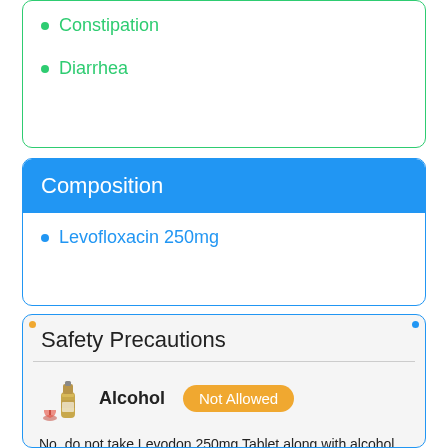Constipation
Diarrhea
Composition
Levofloxacin 250mg
Safety Precautions
Alcohol  Not Allowed
No, do not take Levodon 250mg Tablet along with alcohol.
If you have alcohol while taking this medication, you may